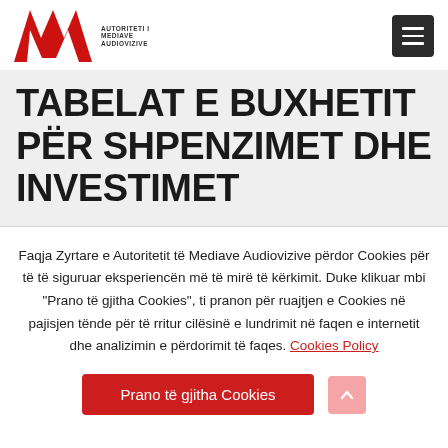AMA — Autoriteti i Mediave Audiovizive
TABELAT E BUXHETIT PËR SHPENZIMET DHE INVESTIMET
Faqja Zyrtare e Autoritetit të Mediave Audiovizive përdor Cookies për të të siguruar eksperiencën më të mirë të kërkimit. Duke klikuar mbi "Prano të gjitha Cookies", ti pranon për ruajtjen e Cookies në pajisjen tënde për të rritur cilësinë e lundrimit në faqen e internetit dhe analizimin e përdorimit të faqes. Cookies Policy
Prano të gjitha Cookies